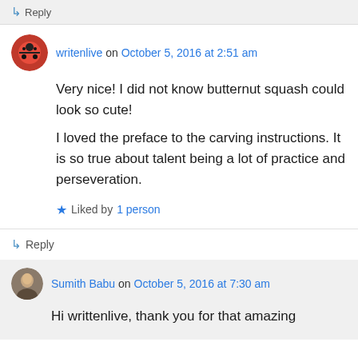↳ Reply
writenlive on October 5, 2016 at 2:51 am
Very nice! I did not know butternut squash could look so cute!
I loved the preface to the carving instructions. It is so true about talent being a lot of practice and perseveration.
Liked by 1 person
↳ Reply
Sumith Babu on October 5, 2016 at 7:30 am
Hi writtenlive, thank you for that amazing